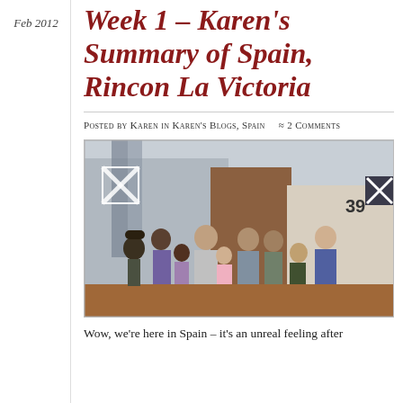Feb 2012
Week 1 – Karen's Summary of Spain, Rincon La Victoria
Posted by Karen in Karen's Blogs, Spain   ≈ 2 Comments
[Figure (photo): Group photo of approximately 9 people including adults and children standing together outdoors. A number 39 is visible on the wall behind them. Some structural metalwork is visible in the background.]
Wow, we're here in Spain – it's an unreal feeling after